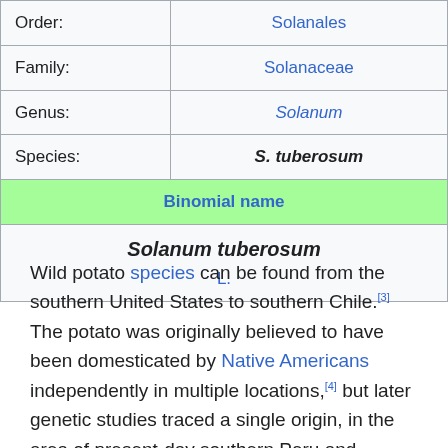| Order: | Solanales |
| Family: | Solanaceae |
| Genus: | Solanum |
| Species: | S. tuberosum |
| Binomial name |  |
| Solanum tuberosum
L. |  |
Wild potato species can be found from the southern United States to southern Chile.[3] The potato was originally believed to have been domesticated by Native Americans independently in multiple locations,[4] but later genetic studies traced a single origin, in the area of present-day southern Peru and extreme northwestern